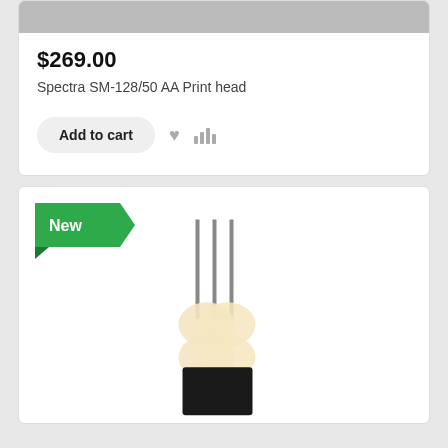[Figure (photo): Top cropped image of a product (print head), gray background, partially visible at top of page]
$269.00
Spectra SM-128/50 AA Print head
Add to cart
[Figure (photo): New badge (green speech bubble) and a transistor component photo with three metal leads and a black rectangular body]
New